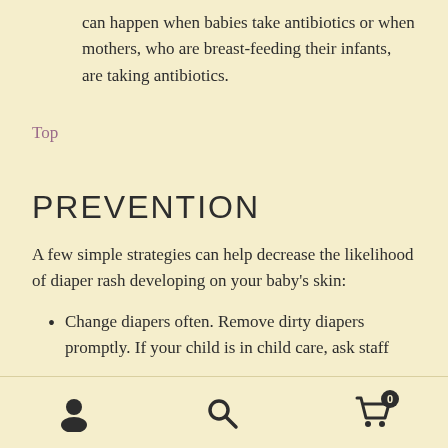can happen when babies take antibiotics or when mothers, who are breast-feeding their infants, are taking antibiotics.
Top
PREVENTION
A few simple strategies can help decrease the likelihood of diaper rash developing on your baby's skin:
Change diapers often. Remove dirty diapers promptly. If your child is in child care, ask staff